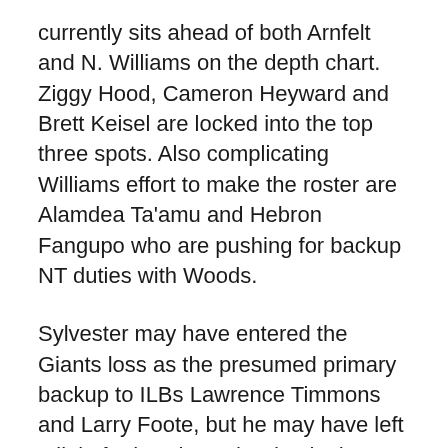currently sits ahead of both Arnfelt and N. Williams on the depth chart. Ziggy Hood, Cameron Heyward and Brett Keisel are locked into the top three spots. Also complicating Williams effort to make the roster are Alamdea Ta'amu and Hebron Fangupo who are pushing for backup NT duties with Woods.
Sylvester may have entered the Giants loss as the presumed primary backup to ILBs Lawrence Timmons and Larry Foote, but he may have left a little further down the depth chart after having WR Markus Wheaton roll up his ankle. With Sylvester sitting out, the rest of the ILBs made their presences known. Brian Rolle was all over the field, Marshall McFadden was making plays in the backfield and Vince Williams didn't play like a rookie.